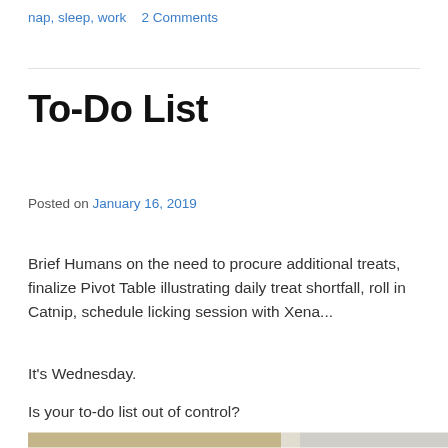nap, sleep, work    2 Comments
To-Do List
Posted on January 16, 2019
Brief Humans on the need to procure additional treats, finalize Pivot Table illustrating daily treat shortfall, roll in Catnip, schedule licking session with Xena...
It's Wednesday.
Is your to-do list out of control?
[Figure (photo): A photograph showing what appears to be a cat near a window with curtains/blinds visible]